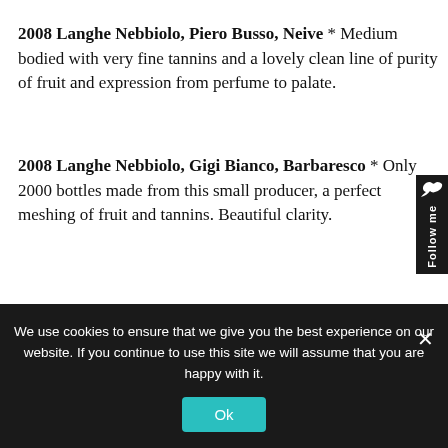2008 Langhe Nebbiolo, Piero Busso, Neive * Medium bodied with very fine tannins and a lovely clean line of purity of fruit and expression from perfume to palate.
2008 Langhe Nebbiolo, Gigi Bianco, Barbaresco * Only 2000 bottles made from this small producer, a perfect meshing of fruit and tannins. Beautiful clarity.
We use cookies to ensure that we give you the best experience on our website. If you continue to use this site we will assume that you are happy with it.